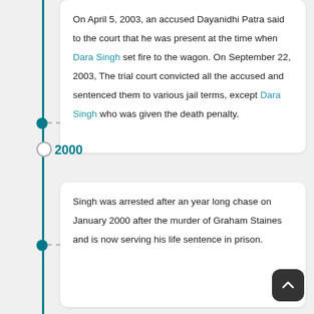On April 5, 2003, an accused Dayanidhi Patra said to the court that he was present at the time when Dara Singh set fire to the wagon. On September 22, 2003, The trial court convicted all the accused and sentenced them to various jail terms, except Dara Singh who was given the death penalty.
2000
Singh was arrested after an year long chase on January 2000 after the murder of Graham Staines and is now serving his life sentence in prison.